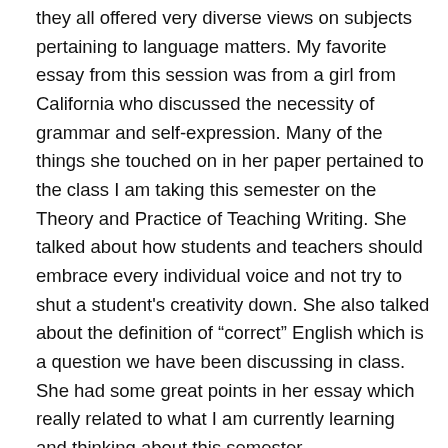they all offered very diverse views on subjects pertaining to language matters. My favorite essay from this session was from a girl from California who discussed the necessity of grammar and self-expression. Many of the things she touched on in her paper pertained to the class I am taking this semester on the Theory and Practice of Teaching Writing. She talked about how students and teachers should embrace every individual voice and not try to shut a student's creativity down. She also talked about the definition of “correct” English which is a question we have been discussing in class. She had some great points in her essay which really related to what I am currently learning and thinking about this semester.
Another session I attended was one on teaching secondary English. This may have been the most educational session of the convention which I attended.